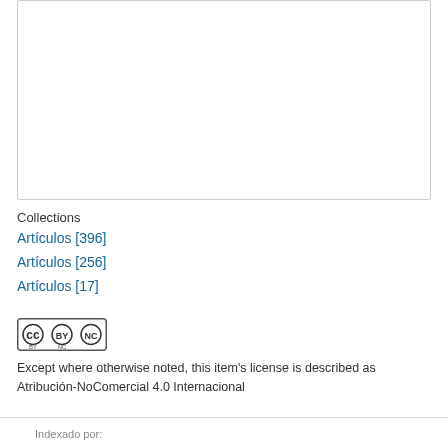[Figure (other): White rectangular box with light grey border, likely placeholder for an image or document preview]
Collections
Artículos [396]
Artículos [256]
Artículos [17]
[Figure (logo): Creative Commons license badge showing CC BY NC icons]
Except where otherwise noted, this item's license is described as Atribución-NoComercial 4.0 Internacional
Indexado por: